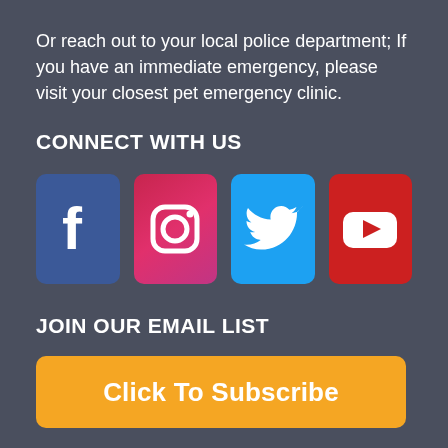Or reach out to your local police department; If you have an immediate emergency, please visit your closest pet emergency clinic.
CONNECT WITH US
[Figure (illustration): Four social media icons: Facebook (blue), Instagram (pink/red gradient), Twitter (light blue), YouTube (red)]
JOIN OUR EMAIL LIST
Click To Subscribe